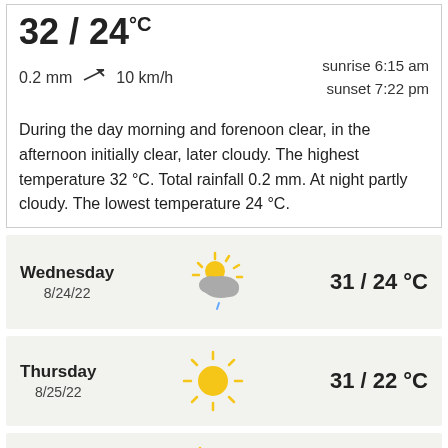32 / 24°C
0.2 mm  ↗  10 km/h   sunrise 6:15 am  sunset 7:22 pm
During the day morning and forenoon clear, in the afternoon initially clear, later cloudy. The highest temperature 32 °C. Total rainfall 0.2 mm. At night partly cloudy. The lowest temperature 24 °C.
Wednesday 8/24/22  31 / 24 °C
Thursday 8/25/22  31 / 22 °C
Friday  31 / 30 °C